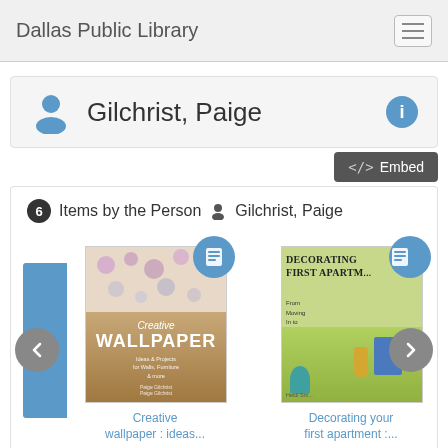Dallas Public Library
Gilchrist, Paige
<> Embed
6 Items by the Person  Gilchrist, Paige
[Figure (screenshot): Book carousel showing Creative Wallpaper and Decorating your first apartment book covers with blue book-type badges]
Creative wallpaper : ideas...
Decorating your first apartment :...